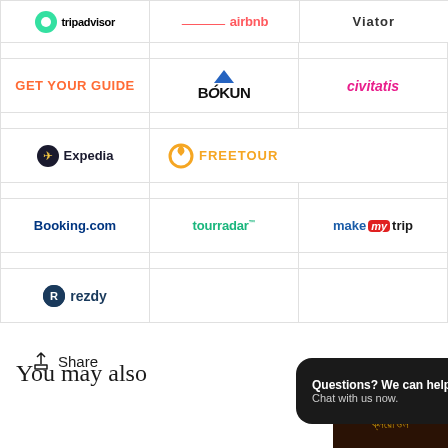[Figure (logo): Grid of travel platform logos: TripAdvisor, Airbnb, Viator, GetYourGuide, Bokun, Civitatis, Expedia, Freetour, Booking.com, Tourradar, MakeMyTrip, Rezdy]
Share
You may also
[Figure (screenshot): Chat popup widget: 'Questions? We can help. Chat with us now.' with blue chat bubble icon on dark background]